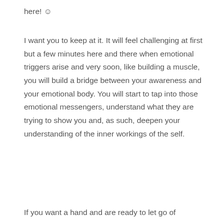here! ☺
I want you to keep at it. It will feel challenging at first but a few minutes here and there when emotional triggers arise and very soon, like building a muscle, you will build a bridge between your awareness and your emotional body. You will start to tap into those emotional messengers, understand what they are trying to show you and, as such, deepen your understanding of the inner workings of the self.
If you want a hand and are ready to let go of